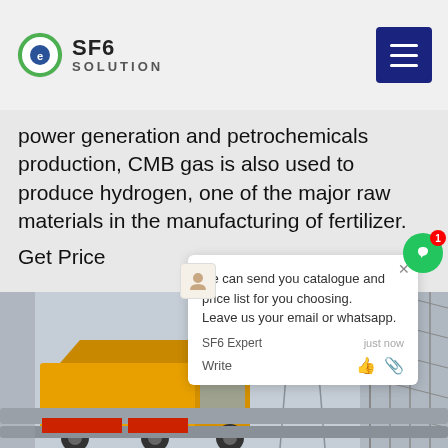SF6 SOLUTION
power generation and petrochemicals production, CMB gas is also used to produce hydrogen, one of the major raw materials in the manufacturing of fertilizer.
Get Price
[Figure (photo): Yellow industrial truck/vehicle at an electrical substation or industrial facility with large metal towers and structures in the background.]
we can send you catalogue and price list for you choosing. Leave us your email or whatsapp.
SF6 Expert   just now
Write